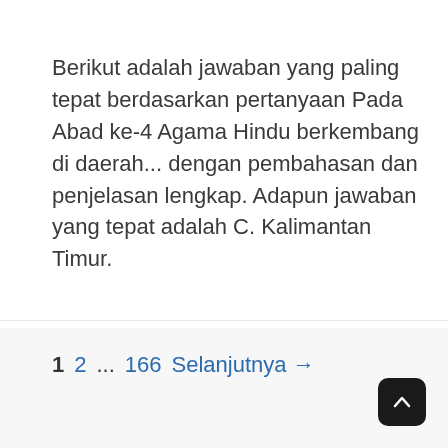Berikut adalah jawaban yang paling tepat berdasarkan pertanyaan Pada Abad ke-4 Agama Hindu berkembang di daerah... dengan pembahasan dan penjelasan lengkap. Adapun jawaban yang tepat adalah C. Kalimantan Timur.
1  2  ...  166  Selanjutnya →